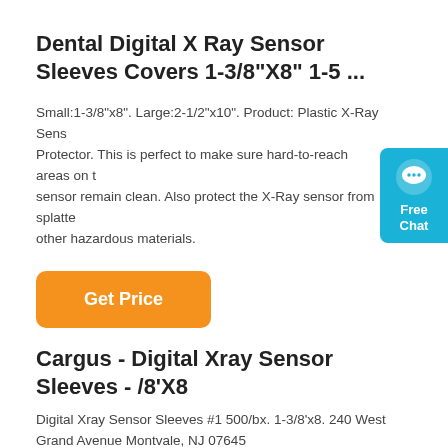Dental Digital X Ray Sensor Sleeves Covers 1-3/8"X8" 1-5 ...
Small:1-3/8"x8". Large:2-1/2"x10". Product: Plastic X-Ray Sensor Protector. This is perfect to make sure hard-to-reach areas on the sensor remain clean. Also protect the X-Ray sensor from splatter other hazardous materials.
[Figure (other): Orange 'Get Price' button]
[Figure (other): Free Chat widget with speech bubble icon on cyan/blue background]
Cargus - Digital Xray Sensor Sleeves - /8'X8
Digital Xray Sensor Sleeves #1 500/bx. 1-3/8'x8. 240 West Grand Avenue Montvale, NJ 07645